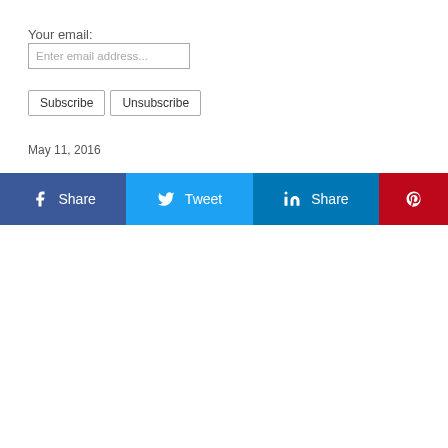Your email:
Enter email address...
Subscribe   Unsubscribe
May 11, 2016
[Figure (infographic): Social media share buttons row: Facebook Share (dark blue), Twitter Tweet (light blue), LinkedIn Share (teal blue), Pinterest (red)]